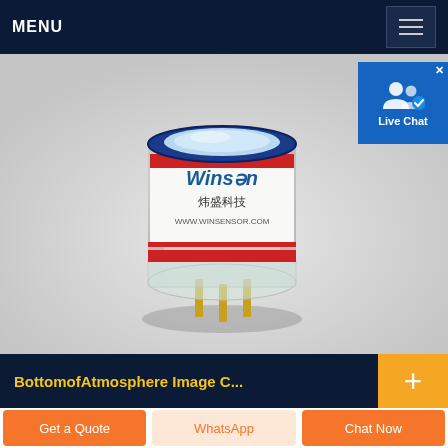MENU
[Figure (photo): A Winsen brand electrochemical gas sensor component with cylindrical body, blue top ring, red stripe, white label reading 'Winsen 炜盛科技 WWW.WINSENSOR.COM', transparent base with gold-plated pin connectors, photographed on a white/gray background.]
[Figure (screenshot): Live Chat overlay button with icon showing two user silhouettes and a blue checkmark badge, on a blue background with white text 'Live Chat' and an X close button.]
BottomofAtmosphere Image C...
Get a Quote
WhatsApp
Chat Now